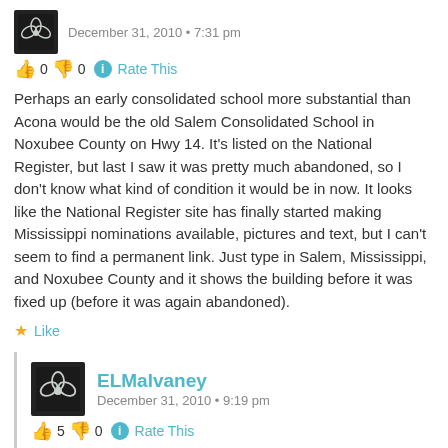[Figure (illustration): User avatar thumbnail showing a stylized leaf/flower on dark background]
December 31, 2010 • 7:31 pm
👍 0 👎 0 ℹ Rate This
Perhaps an early consolidated school more substantial than Acona would be the old Salem Consolidated School in Noxubee County on Hwy 14. It's listed on the National Register, but last I saw it was pretty much abandoned, so I don't know what kind of condition it would be in now. It looks like the National Register site has finally started making Mississippi nominations available, pictures and text, but I can't seem to find a permanent link. Just type in Salem, Mississippi, and Noxubee County and it shows the building before it was fixed up (before it was again abandoned).
★ Like
[Figure (illustration): ELMalvaney user avatar thumbnail showing a stylized leaf/flower on dark background]
ELMalvaney
December 31, 2010 • 9:19 pm
👍 5 👎 0 ℹ Rate This
Or one that is still used, I think, as a community